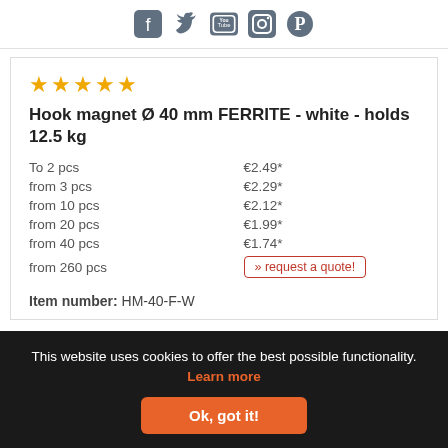[Social icons: Facebook, Twitter, YouTube, Instagram, Pinterest]
[Figure (other): Five yellow stars rating]
Hook magnet Ø 40 mm FERRITE - white - holds 12.5 kg
| Quantity | Price |
| --- | --- |
| To 2 pcs | €2.49* |
| from 3 pcs | €2.29* |
| from 10 pcs | €2.12* |
| from 20 pcs | €1.99* |
| from 40 pcs | €1.74* |
| from 260 pcs | » request a quote! |
Item number: HM-40-F-W
This website uses cookies to offer the best possible functionality. Learn more
Ok, got it!